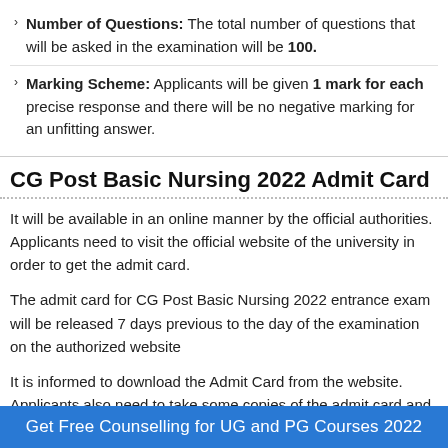Number of Questions: The total number of questions that will be asked in the examination will be 100.
Marking Scheme: Applicants will be given 1 mark for each precise response and there will be no negative marking for an unfitting answer.
CG Post Basic Nursing 2022 Admit Card
It will be available in an online manner by the official authorities. Applicants need to visit the official website of the university in order to get the admit card.
The admit card for CG Post Basic Nursing 2022 entrance exam will be released 7 days previous to the day of the examination on the authorized website
It is informed to download the Admit Card from the website. Applicants also need to take some copies of the admit card and keep it carefully.
Get Free Counselling for UG and PG Courses 2022